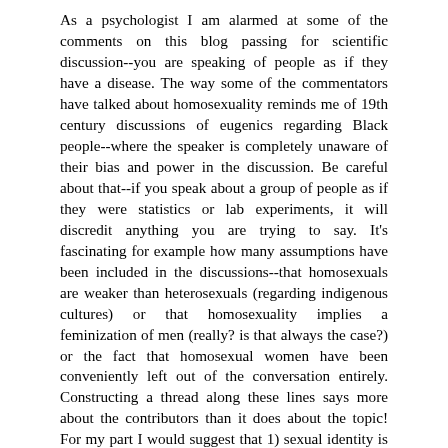As a psychologist I am alarmed at some of the comments on this blog passing for scientific discussion--you are speaking of people as if they have a disease. The way some of the commentators have talked about homosexuality reminds me of 19th century discussions of eugenics regarding Black people--where the speaker is completely unaware of their bias and power in the discussion. Be careful about that--if you speak about a group of people as if they were statistics or lab experiments, it will discredit anything you are trying to say. It's fascinating for example how many assumptions have been included in the discussions--that homosexuals are weaker than heterosexuals (regarding indigenous cultures) or that homosexuality implies a feminization of men (really? is that always the case?) or the fact that homosexual women have been conveniently left out of the conversation entirely. Constructing a thread along these lines says more about the contributors than it does about the topic! For my part I would suggest that 1) sexual identity is not reducible to sexual activity, it is not the same thing, and what constitutes sexual identity is far more complex than is being understood in this thread. 2) evolution and natural selection